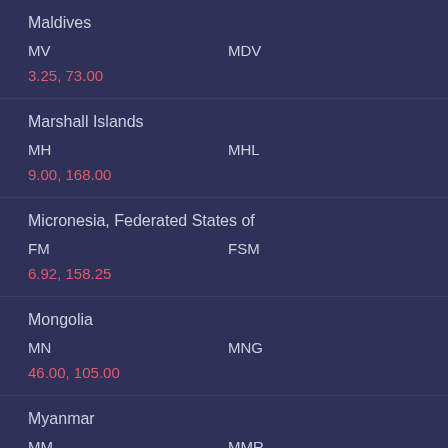Maldives
MV    MDV
3.25, 73.00
Marshall Islands
MH    MHL
9.00, 168.00
Micronesia, Federated States of
FM    FSM
6.92, 158.25
Mongolia
MN    MNG
46.00, 105.00
Myanmar
MM    MMR
22.00, 98.00